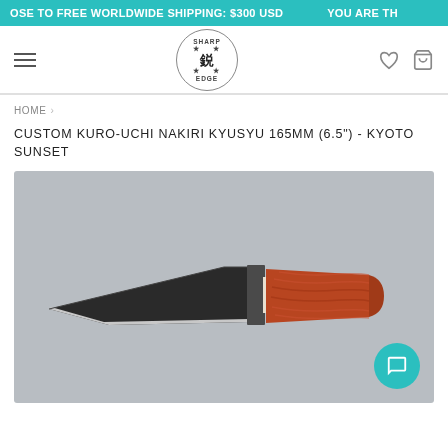OSE TO FREE WORLDWIDE SHIPPING: $300 USD   YOU ARE TH
[Figure (logo): Sharp Edge knife store logo - circular badge with Japanese kanji character, stars, and text SHARP EDGE]
HOME  >
CUSTOM KURO-UCHI NAKIRI KYUSYU 165MM (6.5") - KYOTO SUNSET
[Figure (photo): A custom Kuro-Uchi Nakiri Kyusyu knife with a dark/black blade and orange-red stabilized wood handle with dark bolster, photographed on a grey background]